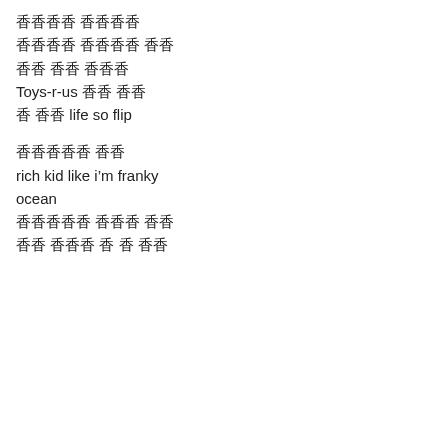▣▣ ▣▣▣▣
▣▣▣ ▣▣▣▣ ▣▣
▣▣ ▣▣ ▣▣▣
Toys-r-us ▣▣ ▣▣
▣ ▣▣ life so flip
▣▣▣▣▣ ▣▣
rich kid like i'm franky
ocean
▣▣▣▣▣ ▣▣▣ ▣▣
▣▣ ▣▣▣ ▣ ▣ ▣▣